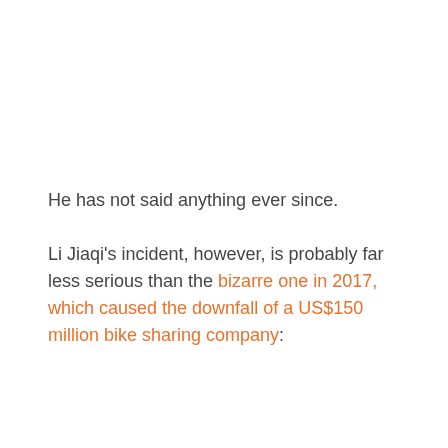He has not said anything ever since.
Li Jiaqi's incident, however, is probably far less serious than the bizarre one in 2017, which caused the downfall of a US$150 million bike sharing company: